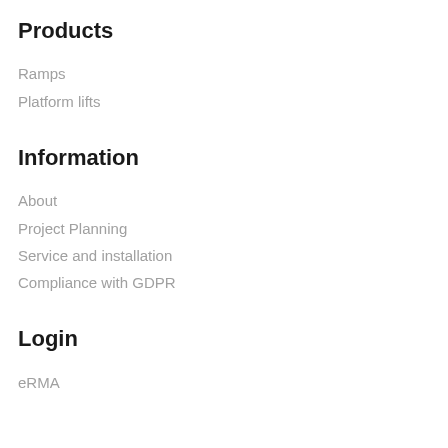Products
Ramps
Platform lifts
Information
About
Project Planning
Service and installation
Compliance with GDPR
Login
eRMA